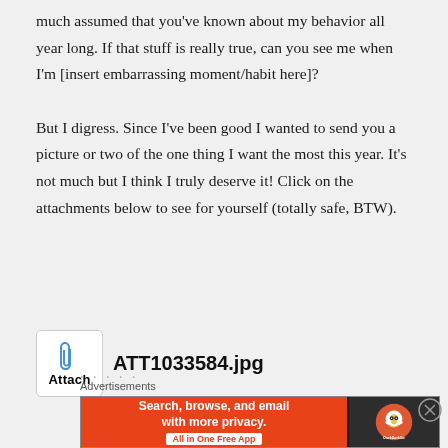much assumed that you've known about my behavior all year long. If that stuff is really true, can you see me when I'm [insert embarrassing moment/habit here]?

But I digress. Since I've been good I wanted to send you a picture or two of the one thing I want the most this year. It's not much but I think I truly deserve it! Click on the attachments below to see for yourself (totally safe, BTW).
[Figure (screenshot): Attachment icon showing a paperclip labeled 'Attach' in a white bordered box, followed by filename ATT1033584.jpg in bold]
Advertisements
[Figure (screenshot): DuckDuckGo advertisement banner with orange background reading 'Search, browse, and email with more privacy. All in One Free App' and dark section with DuckDuckGo logo]